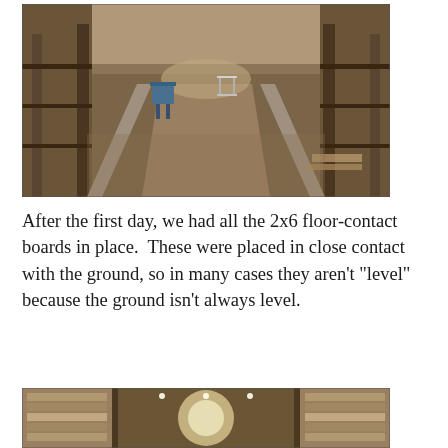[Figure (photo): Interior view of a barn or large wooden structure under construction, looking down the length of the building. Sawdust-covered dirt floor with concrete footings visible, wood framing on sides, power tools (table saw) visible in the distance.]
After the first day, we had all the 2x6 floor-contact boards in place.  These were placed in close contact with the ground, so in many cases they aren't "level" because the ground isn't always level.
[Figure (photo): Interior view of a barn showing wooden framing, stacked lumber on the left side, and light visible through the far end of the building.]